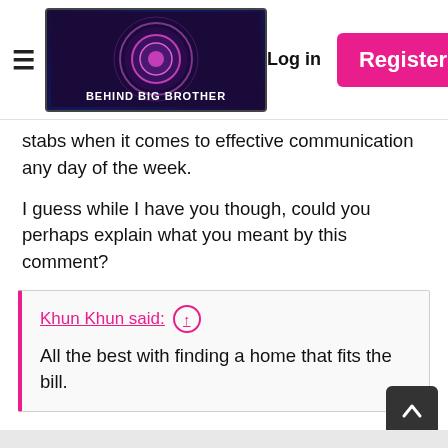Behind Big Brother — Log in | Register
stabs when it comes to effective communication any day of the week.
I guess while I have you though, could you perhaps explain what you meant by this comment?
Khun Khun said: ↑
All the best with finding a home that fits the bill.
I have never been great at deciphering online facetiousness or sarcasm, so I have no idea what you are really trying to say to me. However judging by the stab at me when you were replying to another poster 5 posts later, I can only assume it's negative.